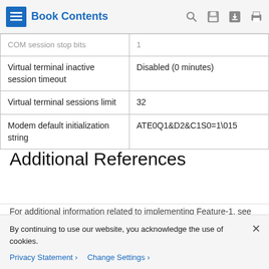Book Contents
| COM session stop bits | 1 |
| Virtual terminal inactive session timeout | Disabled (0 minutes) |
| Virtual terminal sessions limit | 32 |
| Modem default initialization string | ATE0Q1&D2&C1S0=1\015 |
Additional References
For additional information related to implementing Feature-1, see the following sections:
Related Documents
By continuing to use our website, you acknowledge the use of cookies.
Privacy Statement › Change Settings ›